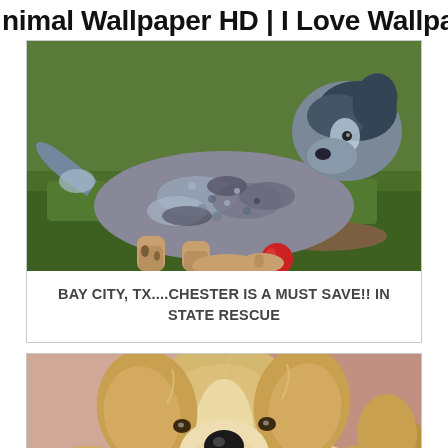nimal Wallpaper HD | I Love Wallpap
[Figure (photo): Australian Cattle Dog lying on grass holding a red ball between its paws, showing speckled blue-grey and tan coat]
BAY CITY, TX....CHESTER IS A MUST SAVE!! IN STATE RESCUE
[Figure (photo): Close-up of a fluffy golden/cream colored puppy or young dog looking up at the camera, resting on a pink/mauve surface]